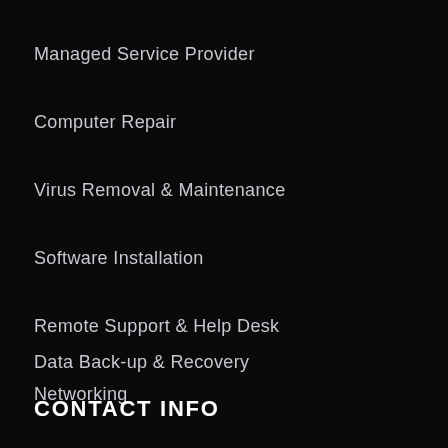Managed Service Provider
Computer Repair
Virus Removal & Maintenance
Software Installation
Remote Support & Help Desk
Data Back-up & Recovery
Networking
CONTACT INFO